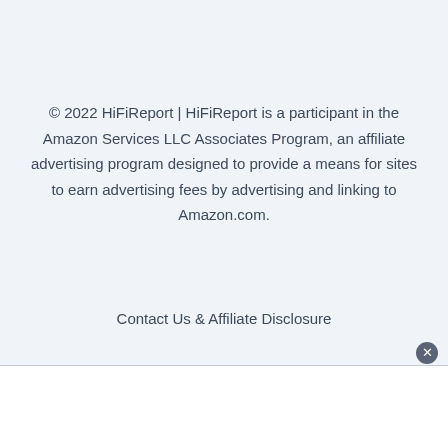© 2022 HiFiReport | HiFiReport is a participant in the Amazon Services LLC Associates Program, an affiliate advertising program designed to provide a means for sites to earn advertising fees by advertising and linking to Amazon.com.
Contact Us & Affiliate Disclosure
Privacy Policies